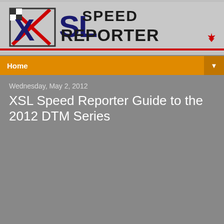[Figure (logo): XSL Speed Reporter logo with checkered flag graphic and maple leaf icon]
Home ▼
Wednesday, May 2, 2012
XSL Speed Reporter Guide to the 2012 DTM Series
[Figure (photo): Two people in white racing suits unveiling a Samsung-sponsored blue and white BMW racing car in a garage/showroom setting]